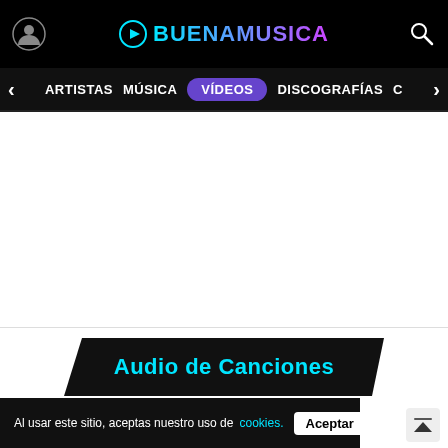BUENAMUSICA
ARTISTAS  MÚSICA  VÍDEOS  DISCOGRAFÍAS  C
Audio de Canciones
Al usar este sitio, aceptas nuestro uso de cookies. Aceptar